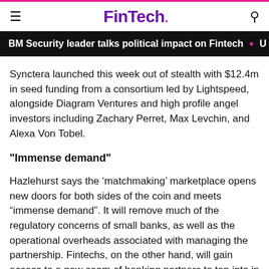FinTech.
IBM Security leader talks political impact on Fintech
Synctera launched this week out of stealth with $12.4m in seed funding from a consortium led by Lightspeed, alongside Diagram Ventures and high profile angel investors including Zachary Perret, Max Levchin, and Alexa Von Tobel.
"Immense demand"
Hazlehurst says the ‘matchmaking’ marketplace opens new doors for both sides of the coin and meets “immense demand”. It will remove much of the regulatory concerns of small banks, as well as the operational overheads associated with managing the partnership. Fintechs, on the other hand, will gain access to a new seam of banking partners to tap into in order to offer FDIC insured accounts and cards